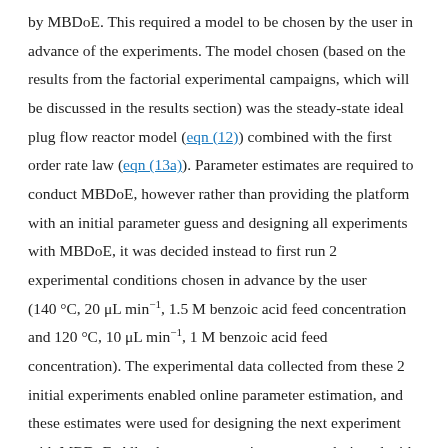by MBDoE. This required a model to be chosen by the user in advance of the experiments. The model chosen (based on the results from the factorial experimental campaigns, which will be discussed in the results section) was the steady-state ideal plug flow reactor model (eqn (12)) combined with the first order rate law (eqn (13a)). Parameter estimates are required to conduct MBDoE, however rather than providing the platform with an initial parameter guess and designing all experiments with MBDoE, it was decided instead to first run 2 experimental conditions chosen in advance by the user (140 °C, 20 μL min⁻¹, 1.5 M benzoic acid feed concentration and 120 °C, 10 μL min⁻¹, 1 M benzoic acid feed concentration). The experimental data collected from these 2 initial experiments enabled online parameter estimation, and these estimates were used for designing the next experiment with MBDoE. All subsequent experiments were designed with MBDoE using the updated parameter estimates from the previous experiment. In this way the